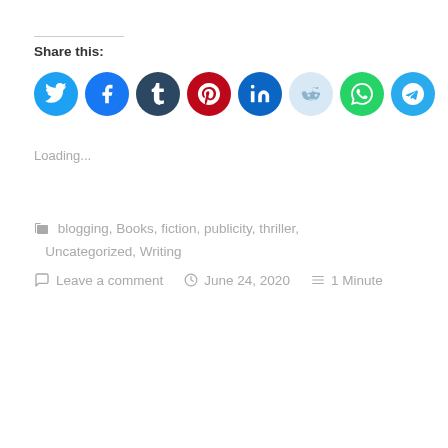Share this:
[Figure (infographic): Row of social media share icons: Twitter (sky blue), Facebook (blue), Tumblr (dark navy), Pinterest (red), LinkedIn (dark blue), Reddit (light blue/grey), WhatsApp (green), Telegram (blue)]
Loading...
blogging, Books, fiction, publicity, thriller, Uncategorized, Writing
Leave a comment   June 24, 2020   1 Minute
Older posts